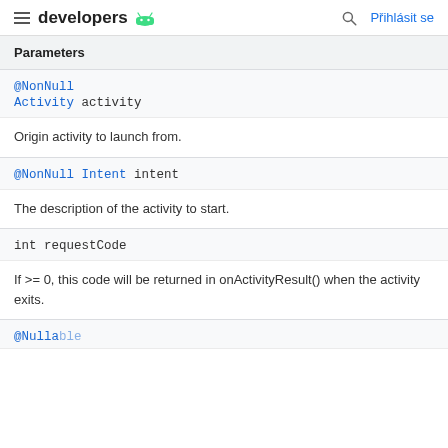developers
Parameters
@NonNull
Activity activity
Origin activity to launch from.
@NonNull Intent intent
The description of the activity to start.
int requestCode
If >= 0, this code will be returned in onActivityResult() when the activity exits.
@Nullable